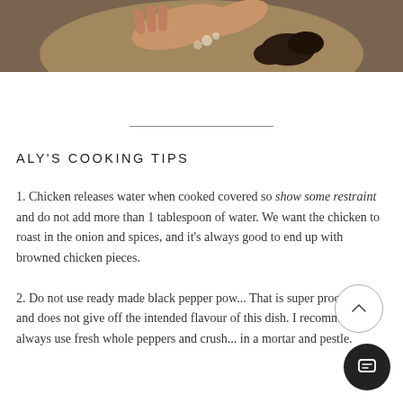[Figure (photo): Close-up photograph of hands preparing food on a plate, with mushrooms and garnish visible, cropped at the top of the page.]
1. Chicken releases water when cooked covered so show some restraint and do not add more than 1 tablespoon of water. We want the chicken to roast in the onion and spices, and it's always good to end up with browned chicken pieces.
ALY'S COOKING TIPS
2. Do not use ready made black pepper pow... That is super processed and does not give off the intended flavour of this dish. I recommend... always use fresh whole peppers and crush... in a mortar and pestle.